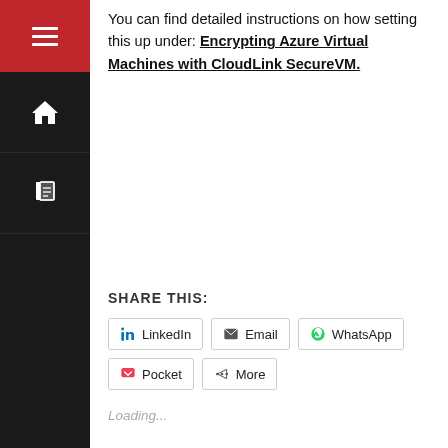You can find detailed instructions on how setting this up under: Encrypting Azure Virtual Machines with CloudLink SecureVM.
SHARE THIS:
LinkedIn  Email  WhatsApp  Pocket  More
Loading...